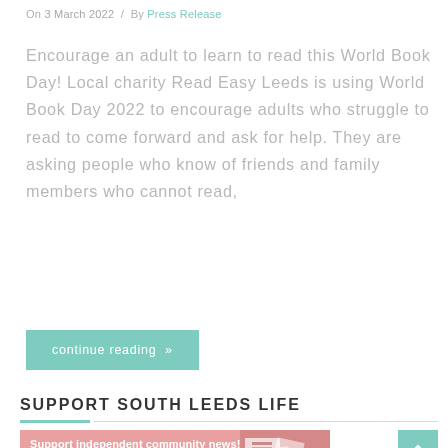On 3 March 2022 / By Press Release
Encourage an adult to learn to read this World Book Day! Local charity Read Easy Leeds is using World Book Day 2022 to encourage adults who struggle to read to come forward and ask for help. They are asking people who know of friends and family members who cannot read,
continue reading »
SUPPORT SOUTH LEEDS LIFE
[Figure (infographic): Pink banner with white text: 'Support independent community news! Click here to become a £1-a-week subsciber' with newspaper images on the right side]
[Figure (other): Teal/green scroll-to-top button with upward caret arrow]